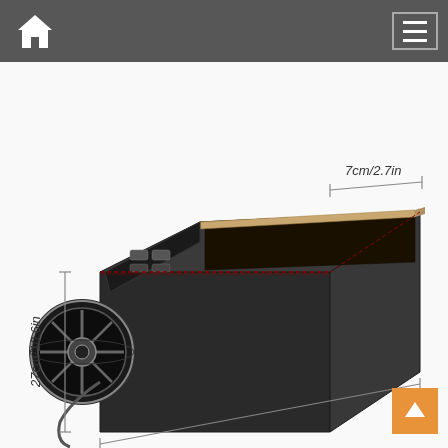[Figure (screenshot): Mobile app navigation bar with home icon on left and hamburger menu button on right, dark gray background]
[Figure (photo): Car seat gap filler organizer box in dark leather/leatherette with cup holder on side and USB charging ports on top. Dimensions shown: 7cm/2.7in width, 27cm/10.6in height, 30cm/11.8in length.]